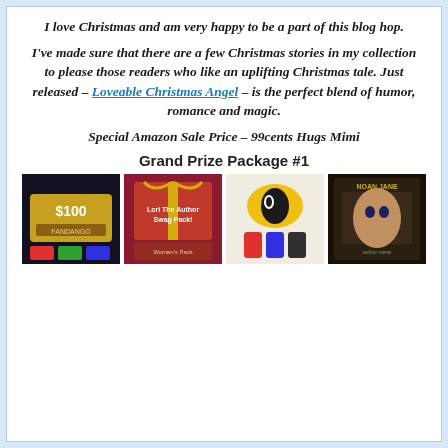I love Christmas and am very happy to be a part of this blog hop. I've made sure that there are a few Christmas stories in my collection to please those readers who like an uplifting Christmas tale. Just released – Loveable Christmas Angel – is the perfect blend of humor, romance and magic. Special Amazon Sale Price – 99cents Hugs Mimi
Grand Prize Package #1
[Figure (photo): Four prize images side by side: a $100 gift card/movie ticket image, a 'Lori The Author Swag Pack!' red gift box image, colorful product items image, and a book cover image]